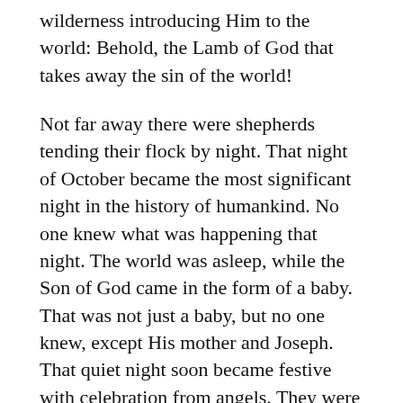wilderness introducing Him to the world: Behold, the Lamb of God that takes away the sin of the world!
Not far away there were shepherds tending their flock by night. That night of October became the most significant night in the history of humankind. No one knew what was happening that night. The world was asleep, while the Son of God came in the form of a baby. That was not just a baby, but no one knew, except His mother and Joseph. That quiet night soon became festive with celebration from angels. They were an army of the troops of heaven praising God and saying, Glory to God in the highest, and on earth peace